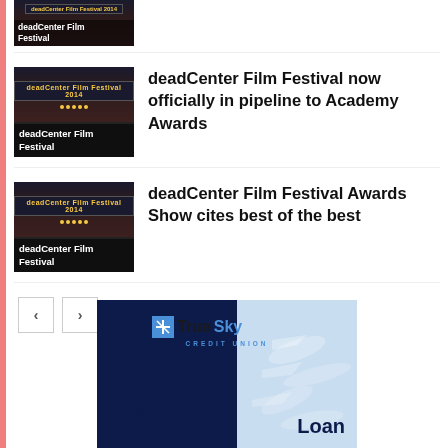[Figure (photo): Partial thumbnail of deadCenter Film Festival marquee at top, cropped]
[Figure (photo): Thumbnail image of deadCenter Film Festival marquee with label overlay]
deadCenter Film Festival now officially in pipeline to Academy Awards
[Figure (photo): Thumbnail image of deadCenter Film Festival marquee with label overlay]
deadCenter Film Festival Awards Show cites best of the best
[Figure (other): Pagination navigation with left and right arrow buttons]
[Figure (logo): True Sky Credit Union advertisement banner - The 747 Loan]